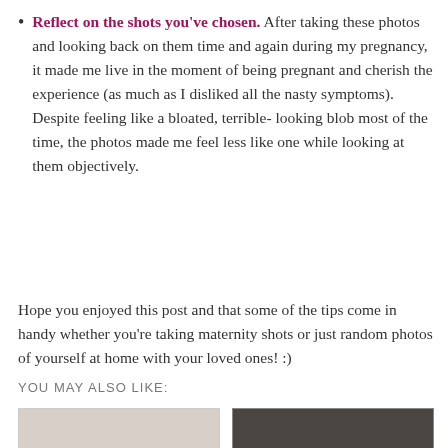Reflect on the shots you've chosen. After taking these photos and looking back on them time and again during my pregnancy, it made me live in the moment of being pregnant and cherish the experience (as much as I disliked all the nasty symptoms). Despite feeling like a bloated, terrible-looking blob most of the time, the photos made me feel less like one while looking at them objectively.
Hope you enjoyed this post and that some of the tips come in handy whether you're taking maternity shots or just random photos of yourself at home with your loved ones! :)
YOU MAY ALSO LIKE:
[Figure (photo): Two thumbnail images side by side — left is a light-toned photo (beige/cream tones), right is a dark-toned photo (dark background with tableware/cutlery visible).]